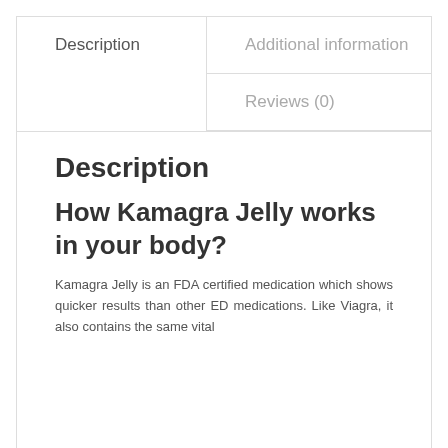Description
Additional information
Reviews (0)
Description
How Kamagra Jelly works in your body?
Kamagra Jelly is an FDA certified medication which shows quicker results than other ED medications. Like Viagra, it also contains the same vital ingredients. Sildenafil Citrate. It works by inhibiting